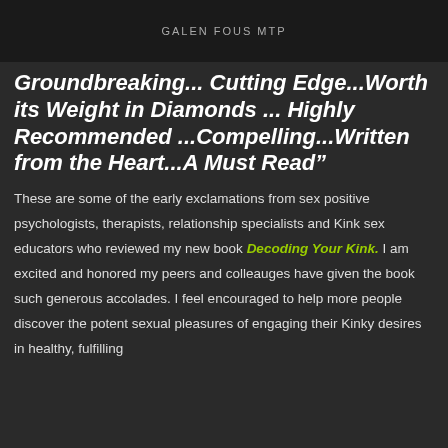Galen Fous MTP
Groundbreaking... Cutting Edge...Worth its Weight in Diamonds ... Highly Recommended ...Compelling...Written from the Heart...A Must Read”
These are some of the early exclamations from sex positive psychologists, therapists, relationship specialists and Kink sex educators who reviewed my new book Decoding Your Kink. I am excited and honored my peers and colleauges have given the book such generous accolades. I feel encouraged to help more people discover the potent sexual pleasures of engaging their Kinky desires in healthy, fulfilling